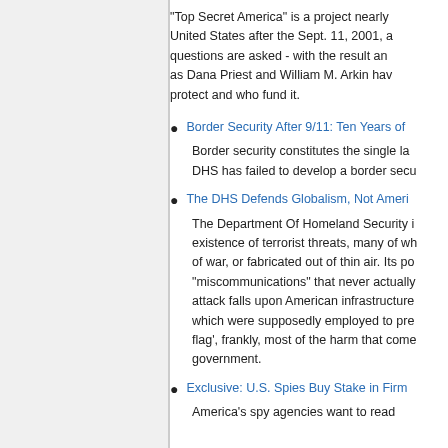"Top Secret America" is a project nearly United States after the Sept. 11, 2001, a questions are asked - with the result an as Dana Priest and William M. Arkin hav protect and who fund it.
Border Security After 9/11: Ten Years of Border security constitutes the single la DHS has failed to develop a border secu
The DHS Defends Globalism, Not Ameri The Department Of Homeland Security i existence of terrorist threats, many of wh of war, or fabricated out of thin air. Its po "miscommunications" that never actually attack falls upon American infrastructure which were supposedly employed to pre flag', frankly, most of the harm that come government.
Exclusive: U.S. Spies Buy Stake in Firm America's spy agencies want to read